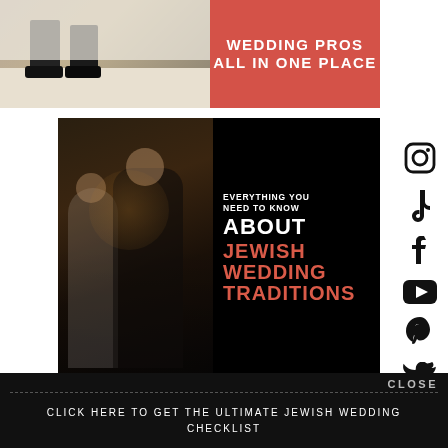[Figure (photo): Top banner showing a wedding scene photo on left and a red panel with text 'WEDDING PROS ALL IN ONE PLACE' on right]
[Figure (infographic): Article thumbnail showing a couple at a Jewish wedding celebration on the left (photo) and black panel with text 'EVERYTHING YOU NEED TO KNOW ABOUT JEWISH WEDDING TRADITIONS' on the right]
[Figure (infographic): Social media sidebar icons: Instagram, TikTok, Facebook, YouTube, Pinterest, Twitter]
CLOSE
CLICK HERE TO GET THE ULTIMATE JEWISH WEDDING CHECKLIST